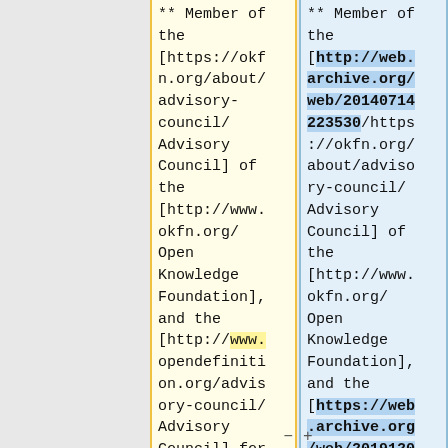** Member of the [https://okfn.org/about/advisory-council/ Advisory Council] of the [http://www.okfn.org/ Open Knowledge Foundation], and the [http://www.opendefinition.org/advisory-council/ Advisory Council] for
** Member of the [http://web.archive.org/web/20140714223530/https://okfn.org/about/advisory-council/ Advisory Council] of the [http://www.okfn.org/ Open Knowledge Foundation], and the [https://web.archive.org/web/20191120